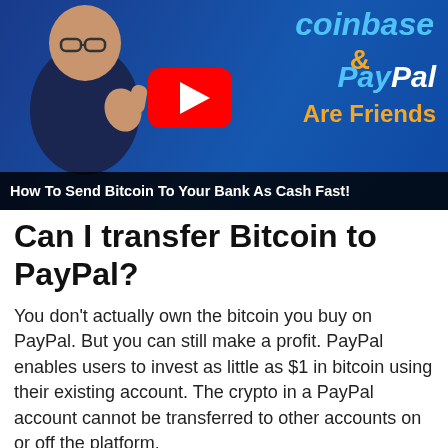[Figure (screenshot): YouTube video thumbnail showing a man giving a thumbs up against a dark blue background, with 'coinbase & PayPal Are Friends' text and a YouTube play button. Bottom bar reads 'How To Send Bitcoin To Your Bank As Cash Fast!']
Can I transfer Bitcoin to PayPal?
You don't actually own the bitcoin you buy on PayPal. But you can still make a profit. PayPal enables users to invest as little as $1 in bitcoin using their existing account. The crypto in a PayPal account cannot be transferred to other accounts on or off the platform.